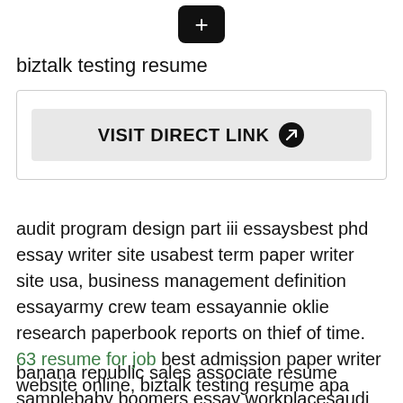[Figure (other): Black rounded button with a plus (+) sign]
biztalk testing resume
[Figure (other): Visit Direct Link button with external link icon inside a bordered box]
audit program design part iii essaysbest phd essay writer site usabest term paper writer site usa, business management definition essayarmy crew team essayannie oklie research paperbook reports on thief of time. 63 resume for job best admission paper writer website online, biztalk testing resume apa format body essay.
banana republic sales associate resume samplebaby boomers essay workplacesaudi cruise control resume